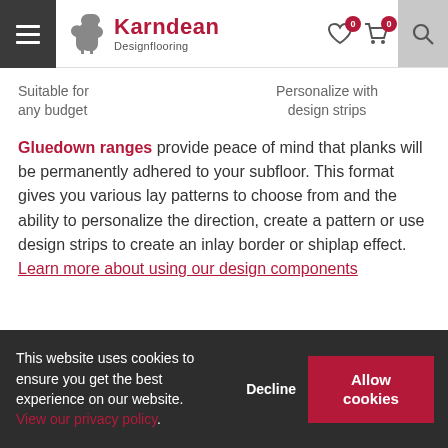Karndean Designflooring
Suitable for any budget
Personalize with design strips
Gluedown ranges provide peace of mind that planks will be permanently adhered to your subfloor. This format gives you various lay patterns to choose from and the ability to personalize the direction, create a pattern or use design strips to create an inlay border or shiplap effect. Learn more about using our design components
This website uses cookies to ensure you get the best experience on our website. View our privacy policy. Decline Allow cookies